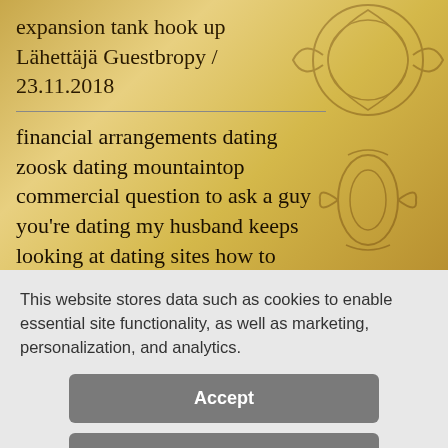expansion tank hook up
Lähettäjä Guestbropy / 23.11.2018
financial arrangements dating zoosk dating mountaintop commercial question to ask a guy you're dating my husband keeps looking at dating sites how to heal from dating a
This website stores data such as cookies to enable essential site functionality, as well as marketing, personalization, and analytics.
Accept
Deny